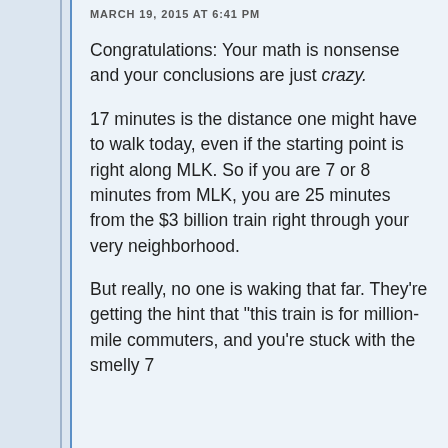MARCH 19, 2015 AT 6:41 PM
Congratulations: Your math is nonsense and your conclusions are just crazy.
17 minutes is the distance one might have to walk today, even if the starting point is right along MLK. So if you are 7 or 8 minutes from MLK, you are 25 minutes from the $3 billion train right through your very neighborhood.
But really, no one is waking that far. They’re getting the hint that “this train is for million-mile commuters, and you’re stuck with the smelly 7